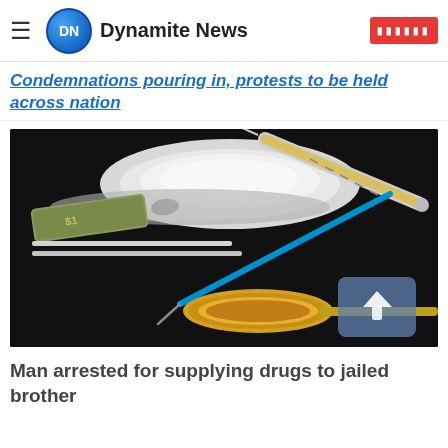Dynamite News
Condemnations pouring in, protests to be held across nation
[Figure (photo): A dark background photo showing drug paraphernalia: white powder/cocaine mound, a rolled dollar bill, a syringe with blue needle and yellow liquid, two lines of white powder, and a golden spoon with liquid, with a semi-transparent blue arrow button in the bottom right corner.]
Man arrested for supplying drugs to jailed brother